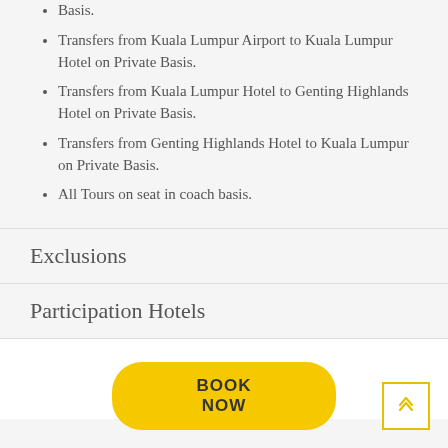Basis.
Transfers from Kuala Lumpur Airport to Kuala Lumpur Hotel on Private Basis.
Transfers from Kuala Lumpur Hotel to Genting Highlands Hotel on Private Basis.
Transfers from Genting Highlands Hotel to Kuala Lumpur on Private Basis.
All Tours on seat in coach basis.
Exclusions
Participation Hotels